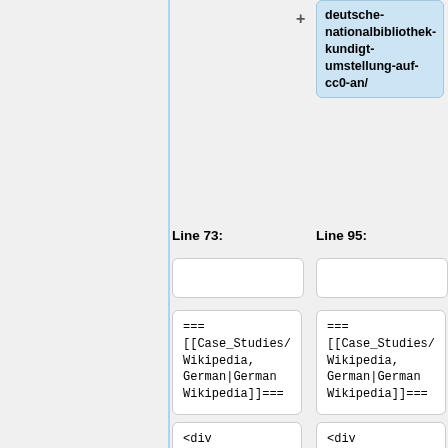+ deutsche-nationalbibliothek-kundigt-umstellung-auf-cc0-an/
=== [[Case_Studies/Wikipedia, German|German Wikipedia]]=== (left)
=== [[Case_Studies/Wikipedia, German|German Wikipedia]]=== (right)
Line 73:
Line 95:
<div class="smimg"> {{#show: Case_Studies/GlaxoSmithKline|? Image Header|link=none}} (left)
<div class="smimg"> {{#show: Case_Studies/GlaxoSmithKline|? Image Header|link=none}} (right)